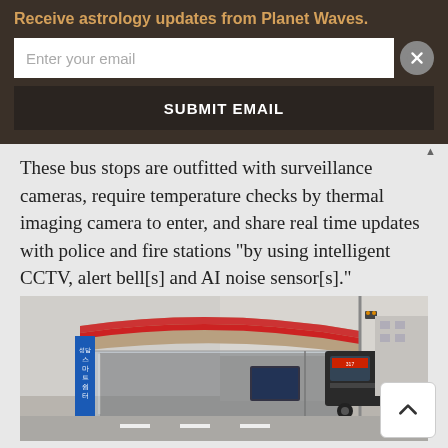Receive astrology updates from Planet Waves.
Enter your email
SUBMIT EMAIL
These bus stops are outfitted with surveillance cameras, require temperature checks by thermal imaging camera to enter, and share real time updates with police and fire stations “by using intelligent CCTV, alert bell[s] and AI noise sensor[s].”
[Figure (photo): Photo of a smart bus stop shelter in Korea with Korean text on a blue sign reading 스마트쉼터, a modern curved glass structure with a red stripe on the roof, and a bus visible in the background on a city street.]